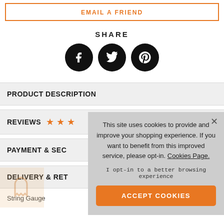EMAIL A FRIEND
SHARE
[Figure (infographic): Three circular social media share buttons: Facebook (f), Twitter (bird), Pinterest (p), black circles with white icons]
PRODUCT DESCRIPTION
REVIEWS ★★★
PAYMENT & SEC
DELIVERY & RET
This site uses cookies to provide and improve your shopping experience. If you want to benefit from this improved service, please opt-in. Cookies Page.
I opt-in to a better browsing experience
ACCEPT COOKIES
String Gauge
.040